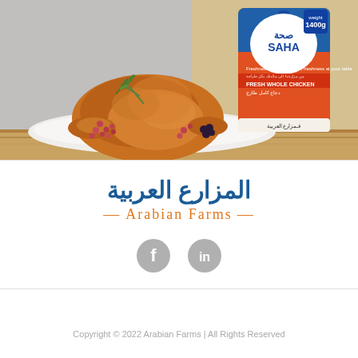[Figure (photo): Product photo showing a roasted whole chicken on a white plate garnished with rosemary and pink peppercorns, next to a SAHA branded fresh whole chicken package (blue and orange bag, 1400g), on a wooden table surface.]
[Figure (logo): Arabian Farms logo: Arabic text 'المزارع العربية' in dark blue above '— Arabian Farms —' in orange serif font]
[Figure (illustration): Social media icons: circular Facebook icon (f) and LinkedIn icon (in), both in gray]
Copyright © 2022 Arabian Farms | All Rights Reserved